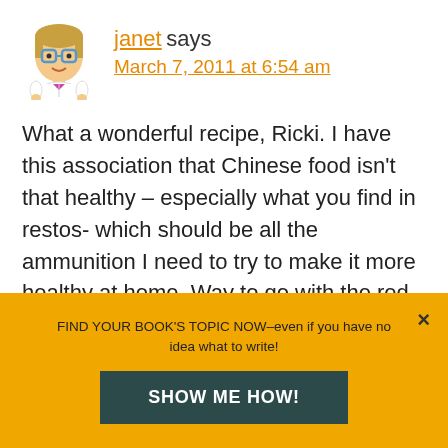[Figure (illustration): Cartoon avatar of a girl with glasses wearing a lab coat]
janet says
March 7, 2011 at 6:54 am
What a wonderful recipe, Ricki. I have this association that Chinese food isn't that healthy – especially what you find in restos- which should be all the ammunition I need to try to make it more healthy at home. Way to go with the red bean dessert. 🙂
Btw, I never knew Windsor had so many Asian
FIND YOUR BOOK'S TOPIC NOW–even if you have no idea what to write!
SHOW ME HOW!